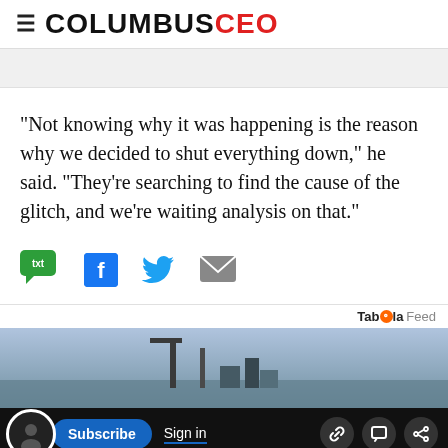COLUMBUSCEO
"Not knowing why it was happening is the reason why we decided to shut everything down," he said. "They're searching to find the cause of the glitch, and we're waiting analysis on that."
[Figure (infographic): Social sharing icons: SMS/text (green speech bubble), Facebook (blue F), Twitter (blue bird), Email (grey envelope)]
[Figure (infographic): Taboola Feed branding label]
[Figure (photo): Background photo of waterfront/port scene, partially visible]
[Figure (infographic): Bottom navigation bar with Subscribe button, Sign in link, and icons for link, comment, and share]